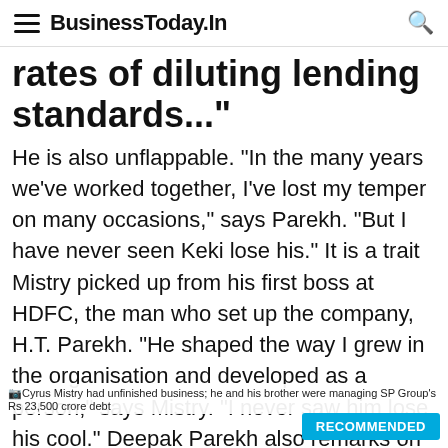BusinessToday.In
rates of diluting lending standards..."
He is also unflappable. "In the many years we've worked together, I've lost my temper on many occasions," says Parekh. "But I have never seen Keki lose his." It is a trait Mistry picked up from his first boss at HDFC, the man who set up the company, H.T. Parekh. "He shaped the way I grew in the organisation and developed as a person," says Mistry. "I never saw him lose his cool." Deepak Parekh also remarks on Mistry's hands-off management style. "He delegates well and gets the work done," he adds. Finally, Mistry attributes his success at work to the fact that he
Cyrus Mistry had unfinished business; he and his brother were managing SP Group's Rs 23,500 crore debt
RECOMMENDED